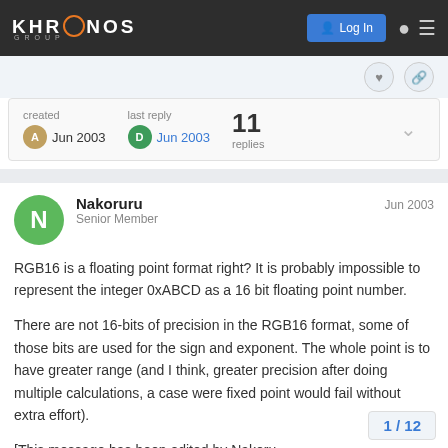Khronos Group — Log In
created Jun 2003  last reply Jun 2003  11 replies
Nakoruru  Jun 2003
Senior Member

RGB16 is a floating point format right? It is probably impossible to represent the integer 0xABCD as a 16 bit floating point number.

There are not 16-bits of precision in the RGB16 format, some of those bits are used for the sign and exponent. The whole point is to have greater range (and I think, greater precision after doing multiple calculations, a case were fixed point would fail without extra effort).

[This message has been edited by Nakoru
1 / 12